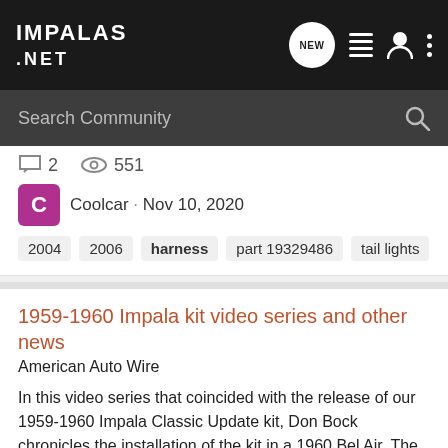IMPALAS .NET
Search Community
2   551
Coolcar · Nov 10, 2020
2004
2006
harness
part 19329486
tail lights
1959-1960 Impala kit video series and other news
American Auto Wire
In this video series that coincided with the release of our 1959-1960 Impala Classic Update kit, Don Bock chronicles the installation of the kit in a 1960 Bel Air. The fifth episode premiered Monday, check them all out! In other news, American Autowire recently released our new 1970 Mustang...
0   2K